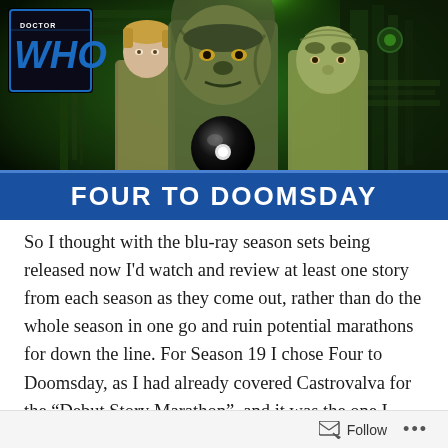[Figure (illustration): Doctor Who 'Four to Doomsday' cover art — shows three characters (a blond man in a coat, a large alien in the centre, a bald alien on the right) against a green sci-fi background with the Doctor Who logo in the top-left corner and 'FOUR TO DOOMSDAY' text on a blue banner at the bottom of the image.]
So I thought with the blu-ray season sets being released now I'd watch and review at least one story from each season as they come out, rather than do the whole season in one go and ruin potential marathons for down the line. For Season 19 I chose Four to Doomsday, as I had already covered Castrovalva for the “Debut Story Marathon”, and it was the one I hadn’t seen in the longest… that wasn’t
Follow ...